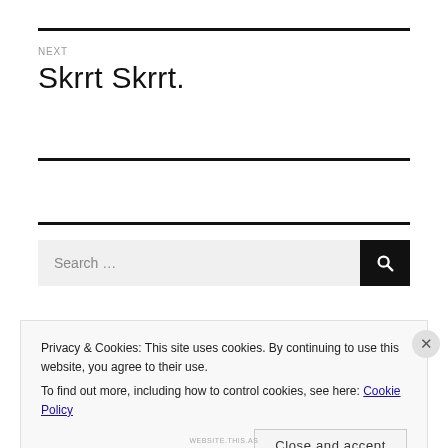NEXT
Skrrt Skrrt.
Search …
Privacy & Cookies: This site uses cookies. By continuing to use this website, you agree to their use.
To find out more, including how to control cookies, see here: Cookie Policy
Close and accept
WEBSITE.THIS.AS